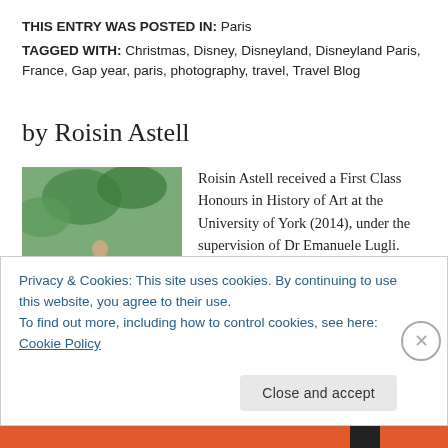THIS ENTRY WAS POSTED IN: Paris
TAGGED WITH: Christmas, Disney, Disneyland, Disneyland Paris, France, Gap year, paris, photography, travel, Travel Blog
by Roisin Astell
[Figure (photo): Outdoor photo of a person near a rocky stream or river with green foliage in the background.]
Roisin Astell received a First Class Honours in History of Art at the University of York (2014), under the supervision of Dr Emanuele Lugli. After spending a year learning French in Paris, Roisin then completed an MSt. in Medieval Studies at the University of Oxford (2016),
Privacy & Cookies: This site uses cookies. By continuing to use this website, you agree to their use.
To find out more, including how to control cookies, see here: Cookie Policy
Close and accept